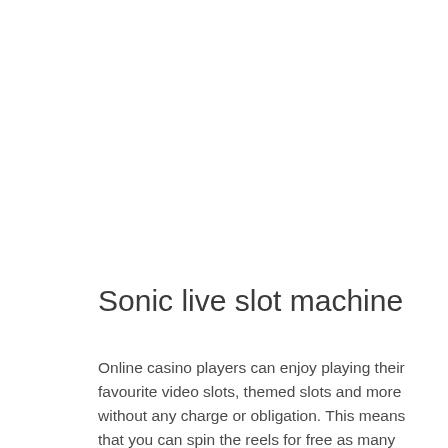Sonic live slot machine
Online casino players can enjoy playing their favourite video slots, themed slots and more without any charge or obligation. This means that you can spin the reels for free as many times as you want. Check out some great free slot casinos at Casino Spy. You dont't need to